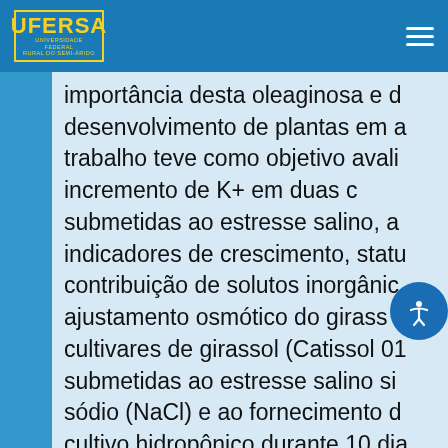UFERSA logo and navigation hamburger menu
importância desta oleaginosa e d desenvolvimento de plantas em a trabalho teve como objetivo avali incremento de K+ em duas c submetidas ao estresse salino, a indicadores de crescimento, statu contribuição de solutos inorgânic ajustamento osmótico do girass cultivares de girassol (Catissol 01 submetidas ao estresse salino si sódio (NaCl) e ao fornecimento d cultivo hidropônico durante 10 dia O delineamento experimental foi utilizando três tratamentos (Contr